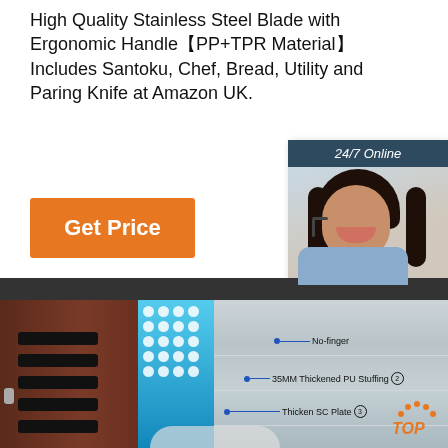High Quality Stainless Steel Blade with Ergonomic Handle【PP+TPR Material】Includes Santoku, Chef, Bread, Utility and Paring Knife at Amazon UK.
[Figure (other): Orange 'Get Price' button]
[Figure (other): 24/7 Online chat widget with customer service representative photo, 'Click here for free chat!' text, and orange QUOTATION button]
[Figure (other): Product cross-section diagram showing knife block on left, blue dot panel in center, steel/metal panel with labels: No-finger, 35MM Thickened PU Stuffing (circled 2), Thicken SC Plate (circled 3); TOP logo with orange arch in bottom right]